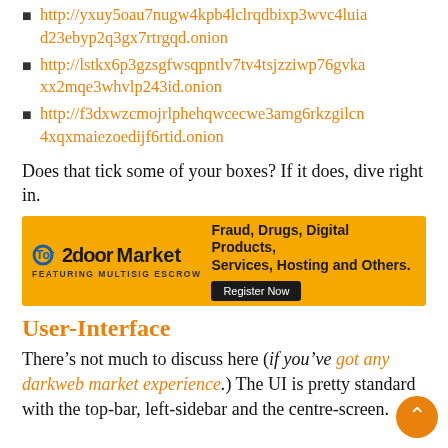http://yxuy5oau7nugw4kpb4lclrqdbixp3wvc4luiad23ebyp2q3gx7rtrgqd.onion
http://lstkx6p3gzsgfwsqpntlv7tv4tsjzziwp76gvkaxx2mqe3whvlp243id.onion
http://f3dxwzcmojrlphehqwcecwe3amg6rkzgilcn4xqxmaiezoedijf6rtid.onion
Does that tick some of your boxes? If it does, dive right in.
[Figure (infographic): Tor2door Market advertisement banner with orange background, logo on left, and text 'Fraud, Drugs, Digital Products, Services, Hosting and Others.' with Register Now button.]
User-Interface
There’s not much to discuss here (if you’ve got any darkweb market experience.) The UI is pretty standard with the top-bar, left-sidebar and the centre-screen.